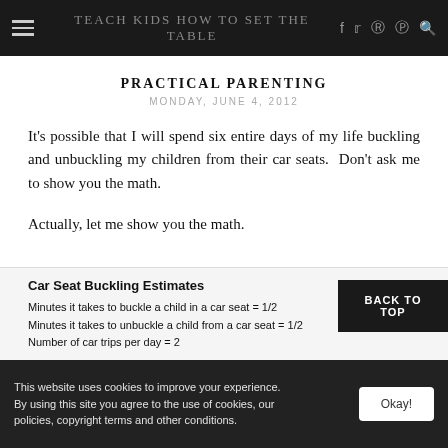TEACH KIDS HOW TO SET THE TABLE
PRACTICAL PARENTING
MONDAY, JUNE 4, 2012
It's possible that I will spend six entire days of my life buckling and unbuckling my children from their car seats.  Don't ask me to show you the math.
Actually, let me show you the math.
Car Seat Buckling Estimates
Minutes it takes to buckle a child in a car seat = 1/2
Minutes it takes to unbuckle a child from a car seat = 1/2
Number of car trips per day = 2
BACK TO TOP
This website uses cookies to improve your experience. By using this site you agree to the use of cookies, our policies, copyright terms and other conditions.